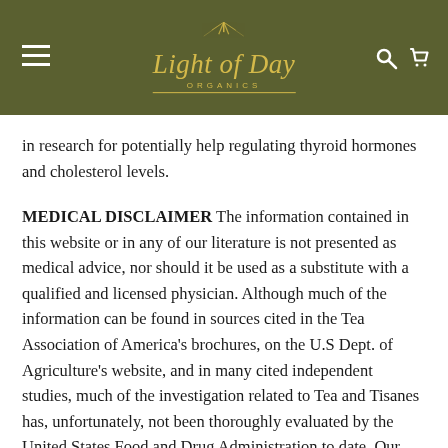Light of Day Organics
in research for potentially help regulating thyroid hormones and cholesterol levels.
MEDICAL DISCLAIMER  The information contained in this website or in any of our literature is not presented as medical advice, nor should it be used as a substitute with a qualified and licensed physician. Although much of the information can be found in sources cited in the Tea Association of America’s brochures, on the U.S Dept. of Agriculture’s website, and in many cited independent studies, much of the investigation related to Tea and Tisanes has, unfortunately, not been thoroughly evaluated by the United States Food and Drug Administration to date. Our products are not designed to treat, cure, diagnose or prevent any specific diseases, and therefore any information contained herein is not to be read as a specific remedy or intended to guarantee any